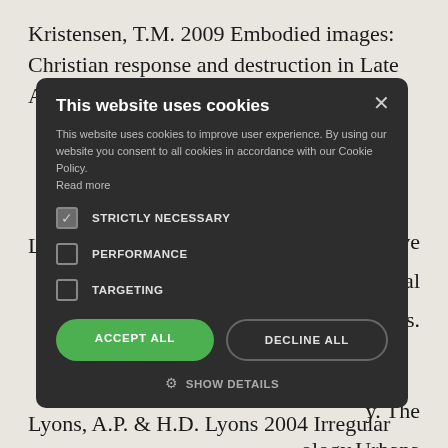Kristensen, T.M. 2009 Embodied images: Christian response and destruction in Late Antique Egypt.
[Figure (screenshot): Cookie consent modal dialog with dark background. Title: 'This website uses cookies'. Body text explains cookie usage. Three checkboxes: STRICTLY NECESSARY (checked), PERFORMANCE (unchecked), TARGETING (unchecked). Two buttons: ACCEPT ALL (green) and DECLINE ALL (outlined). Show Details option at bottom.]
Lyons, A.P. & H.D. Lyons 2004 Irregular...